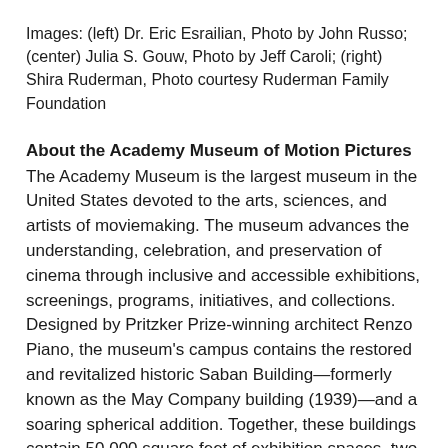Images: (left) Dr. Eric Esrailian, Photo by John Russo; (center) Julia S. Gouw, Photo by Jeff Caroli; (right) Shira Ruderman, Photo courtesy Ruderman Family Foundation
About the Academy Museum of Motion Pictures
The Academy Museum is the largest museum in the United States devoted to the arts, sciences, and artists of moviemaking. The museum advances the understanding, celebration, and preservation of cinema through inclusive and accessible exhibitions, screenings, programs, initiatives, and collections. Designed by Pritzker Prize-winning architect Renzo Piano, the museum's campus contains the restored and revitalized historic Saban Building—formerly known as the May Company building (1939)—and a soaring spherical addition. Together, these buildings contain 50,000 square feet of exhibition spaces, two state-of-the-art theaters, the Shirley Temple Education Studio, and beautiful public spaces that are free and open to the public. These include: The Walt Disney